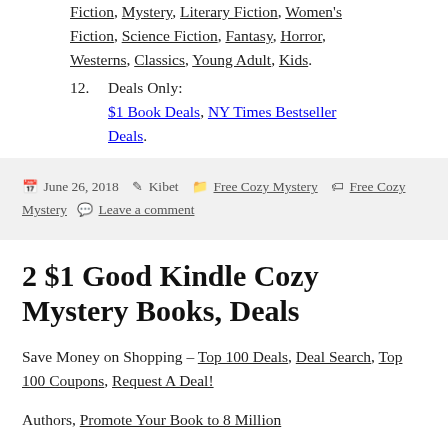Fiction, Science Fiction, Fantasy, Horror, Westerns, Classics, Young Adult, Kids.
12. Deals Only: $1 Book Deals, NY Times Bestseller Deals.
Posted June 26, 2018  by Kibet  Categories Free Cozy Mystery  Tags Free Cozy Mystery  Leave a comment
2 $1 Good Kindle Cozy Mystery Books, Deals
Save Money on Shopping – Top 100 Deals, Deal Search, Top 100 Coupons, Request A Deal!
Authors, Promote Your Book to 8 Million